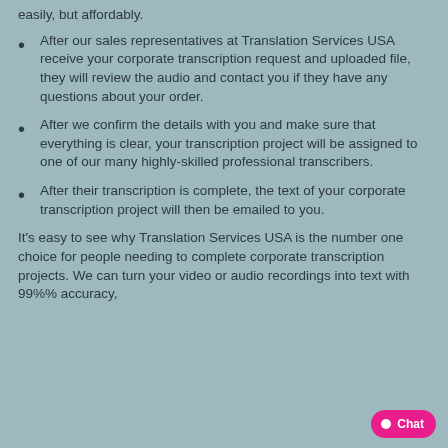easily, but affordably.
After our sales representatives at Translation Services USA receive your corporate transcription request and uploaded file, they will review the audio and contact you if they have any questions about your order.
After we confirm the details with you and make sure that everything is clear, your transcription project will be assigned to one of our many highly-skilled professional transcribers.
After their transcription is complete, the text of your corporate transcription project will then be emailed to you.
It's easy to see why Translation Services USA is the number one choice for people needing to complete corporate transcription projects. We can turn your video or audio recordings into text with 99%% accuracy,